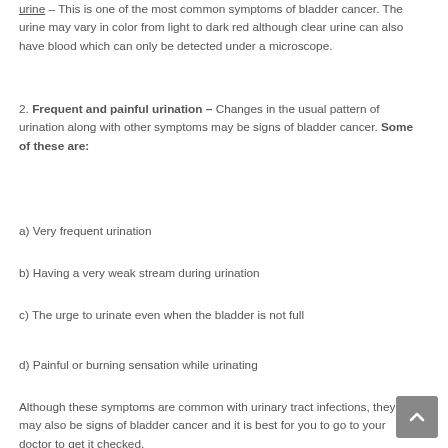urine – This is one of the most common symptoms of bladder cancer. The urine may vary in color from light to dark red although clear urine can also have blood which can only be detected under a microscope.
2. Frequent and painful urination – Changes in the usual pattern of urination along with other symptoms may be signs of bladder cancer. Some of these are:
a) Very frequent urination
b) Having a very weak stream during urination
c) The urge to urinate even when the bladder is not full
d) Painful or burning sensation while urinating
Although these symptoms are common with urinary tract infections, they may also be signs of bladder cancer and it is best for you to go to your doctor to get it checked.